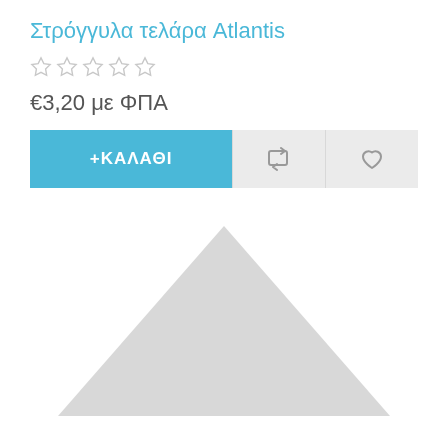Στρόγγυλα τελάρα Atlantis
[Figure (other): Five empty star rating icons in a row]
€3,20 με ΦΠΑ
[Figure (other): Add to cart button row with +ΚΑΛΑΘΙ button in blue, a refresh/compare icon button, and a heart/wishlist icon button on grey background]
[Figure (other): Placeholder image showing a light grey triangle/mountain shape on white background, indicating no product image available]